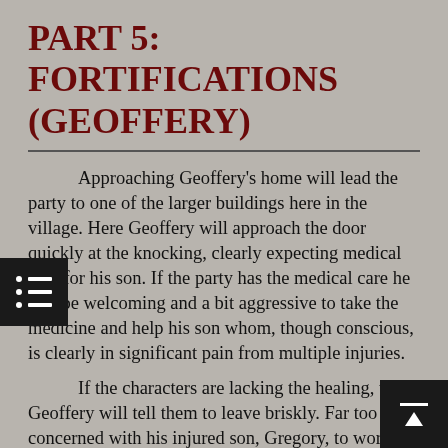PART 5: FORTIFICATIONS (GEOFFERY)
Approaching Geoffery's home will lead the party to one of the larger buildings here in the village. Here Geoffery will approach the door quickly at the knocking, clearly expecting medical care for his son. If the party has the medical care he will be welcoming and a bit aggressive to take the medicine and help his son whom, though conscious, is clearly in significant pain from multiple injuries.
If the characters are lacking the healing, then Geoffery will tell them to leave briskly. Far too concerned with his injured son, Gregory, to worry about a group of strangers asking questions.
If medicine or healing is offered and Gregory given them, both he and his father will be more willing to speak on their current situation. Gregory will